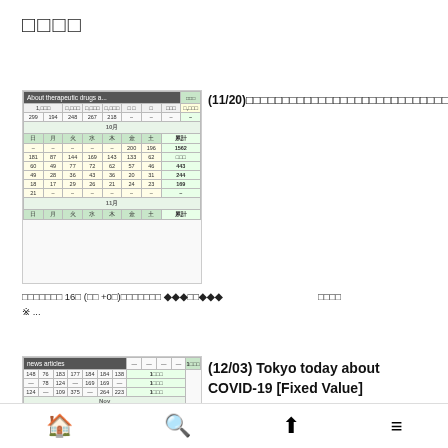□□□□
[Figure (screenshot): Thumbnail of a table showing COVID-19 data with 'About therapeutic drugs a...' header]
(11/20)□□□□□□□□□□□□□□□□□□□□□□□□□□□□□
□□□□□□□ 16□ (□□ +0□)□□□□□□□ ◆◆◆□□◆◆◆  □□□□ ※...
[Figure (screenshot): Thumbnail of a table showing COVID-19 news articles data with Nov calendar rows]
(12/03) Tokyo today about COVID-19 [Fixed Value]
🏠  🔍  ⬆  ≡